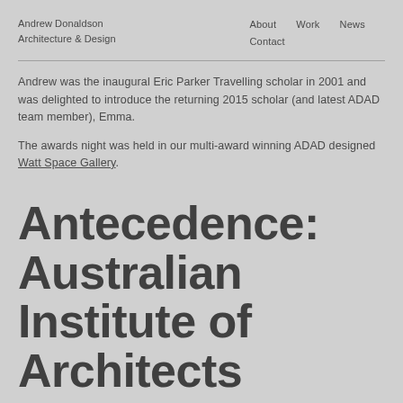Andrew Donaldson Architecture & Design
About  Work  News  Contact
Andrew was the inaugural Eric Parker Travelling scholar in 2001 and was delighted to introduce the returning 2015 scholar (and latest ADAD team member), Emma.
The awards night was held in our multi-award winning ADAD designed Watt Space Gallery.
Antecedence: Australian Institute of Architects 17.10.16